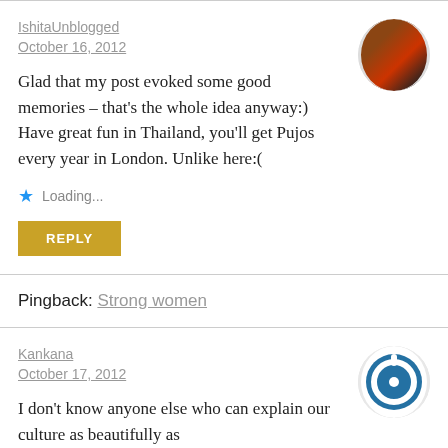IshitaUnblogged
October 16, 2012
Glad that my post evoked some good memories – that's the whole idea anyway:) Have great fun in Thailand, you'll get Pujos every year in London. Unlike here:(
Loading...
REPLY
Pingback: Strong women
Kankana
October 17, 2012
I don't know anyone else who can explain our culture as beautifully as